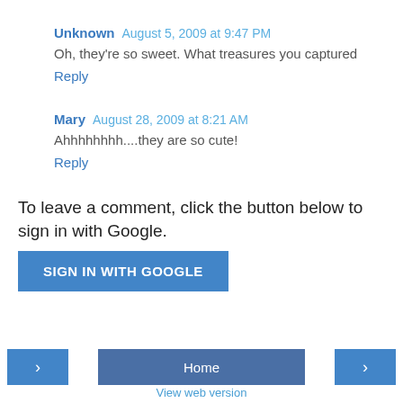Unknown  August 5, 2009 at 9:47 PM
Oh, they're so sweet. What treasures you captured
Reply
Mary  August 28, 2009 at 8:21 AM
Ahhhhhhhh....they are so cute!
Reply
To leave a comment, click the button below to sign in with Google.
SIGN IN WITH GOOGLE
Home
View web version